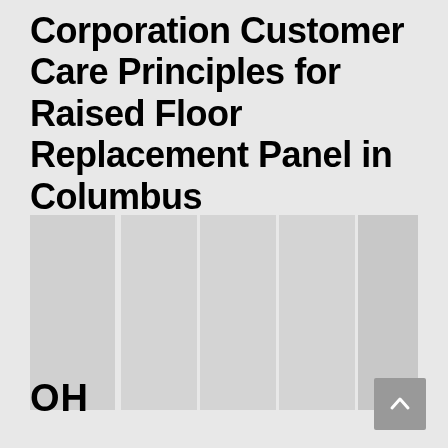Corporation Customer Care Principles for Raised Floor Replacement Panel in Columbus
[Figure (photo): A gray-toned image showing raised floor panels or tiles, with multiple columnar sections visible against a light gray background.]
OH